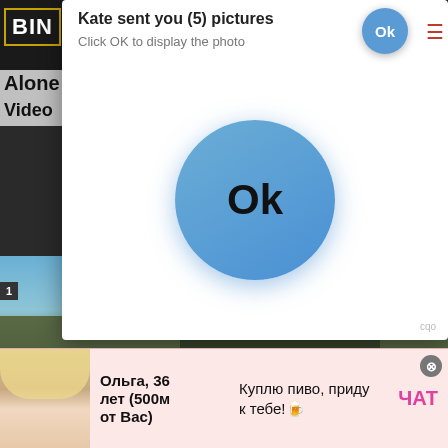[Figure (screenshot): Screenshot of a webpage with multiple overlapping ad popups. Top popup shows 'Kate sent you (5) pictures / Click OK to display the photo' with a blue OK button. Behind it is a website with partial text 'BIN', 'Alone', 'Video', 'nance'. A video player shows '00:0' timestamp. An ad overlay shows 'Ads by Clickadilla / Skip in 5 seconds X' over a Ukrainian war news video with text '90 ДНІВ ВІЙНИ УКРАЇНСЬКА АРМІЯ ГОТОВА ЗАПЛАТИТИ'. At the bottom is a chat ad showing a blonde woman with text 'Ольга, 36 лет (500м от Вас)' and 'Куплю пиво, приду к тебе!' with a 'ЧАТ' button.]